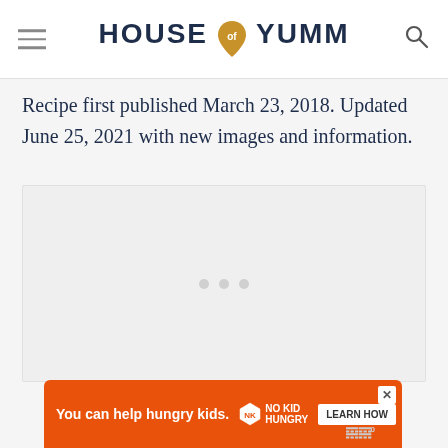HOUSE of YUMM
Recipe first published March 23, 2018. Updated June 25, 2021 with new images and information.
[Figure (photo): Empty image placeholder with three gray dots, indicating a loading or unloaded image content area.]
[Figure (other): Advertisement banner: orange background, text 'You can help hungry kids.' with No Kid Hungry logo and 'LEARN HOW' button.]